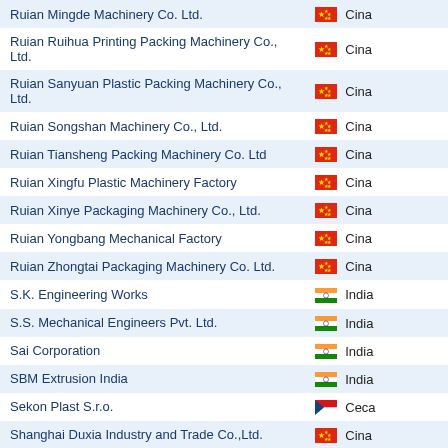| Company | Country |
| --- | --- |
| Ruian Mingde Machinery Co. Ltd. | 🇨🇳 Cina |
| Ruian Ruihua Printing Packing Machinery Co., Ltd. | 🇨🇳 Cina |
| Ruian Sanyuan Plastic Packing Machinery Co., Ltd. | 🇨🇳 Cina |
| Ruian Songshan Machinery Co., Ltd. | 🇨🇳 Cina |
| Ruian Tiansheng Packing Machinery Co. Ltd | 🇨🇳 Cina |
| Ruian Xingfu Plastic Machinery Factory | 🇨🇳 Cina |
| Ruian Xinye Packaging Machinery Co., Ltd. | 🇨🇳 Cina |
| Ruian Yongbang Mechanical Factory | 🇨🇳 Cina |
| Ruian Zhongtai Packaging Machinery Co. Ltd. | 🇨🇳 Cina |
| S.K. Engineering Works | 🇮🇳 India |
| S.S. Mechanical Engineers Pvt. Ltd. | 🇮🇳 India |
| Sai Corporation | 🇮🇳 India |
| SBM Extrusion India | 🇮🇳 India |
| Sekon Plast S.r.o. | 🇨🇿 Ceca |
| Shanghai Duxia Industry and Trade Co.,Ltd. | 🇨🇳 Cina |
| Shisa Machinery Limited | 🇨🇳 Cina |